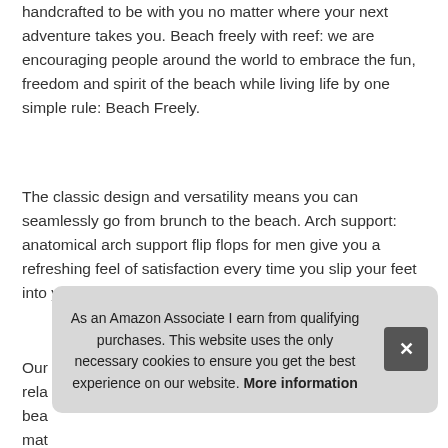handcrafted to be with you no matter where your next adventure takes you. Beach freely with reef: we are encouraging people around the world to embrace the fun, freedom and spirit of the beach while living life by one simple rule: Beach Freely.
The classic design and versatility means you can seamlessly go from brunch to the beach. Arch support: anatomical arch support flip flops for men give you a refreshing feel of satisfaction every time you slip your feet into your Cushion Luna.
More information #ad
Our rela bea mat a rubber sponge outsole for flexibility, these sandals will
As an Amazon Associate I earn from qualifying purchases. This website uses the only necessary cookies to ensure you get the best experience on our website. More information